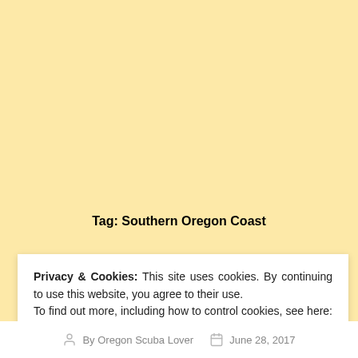Tag: Southern Oregon Coast
Privacy & Cookies: This site uses cookies. By continuing to use this website, you agree to their use.
To find out more, including how to control cookies, see here: Cookie Policy
CLOSE AND ACCEPT
By Oregon Scuba Lover   June 28, 2017